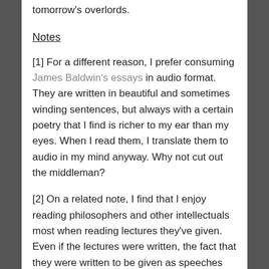tomorrow's overlords.
Notes
[1] For a different reason, I prefer consuming James Baldwin's essays in audio format. They are written in beautiful and sometimes winding sentences, but always with a certain poetry that I find is richer to my ear than my eyes. When I read them, I translate them to audio in my mind anyway. Why not cut out the middleman?
[2] On a related note, I find that I enjoy reading philosophers and other intellectuals most when reading lectures they've given. Even if the lectures were written, the fact that they were written to be given as speeches seems to change what they wrote, usually to a simpler format that is easier for ears to follow.